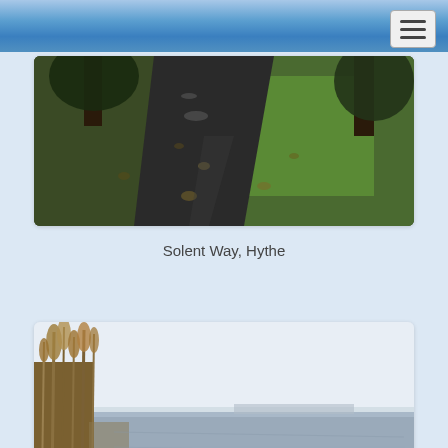[Figure (photo): A paved path running through green grass with trees on either side, autumn leaves on the ground. Solent Way, Hythe.]
Solent Way, Hythe
[Figure (photo): A coastal scene with reeds/tall grass on the left and a wide open water view under a pale sky, distant town visible on horizon.]